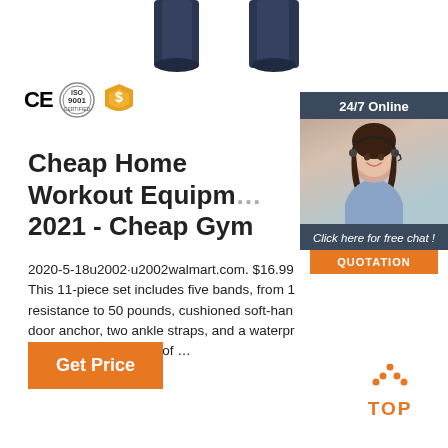[Figure (photo): Product image showing dark blue exercise/resistance bands or yoga straps at the top of the page]
[Figure (logo): CE certification badge, ISO 9001 certification seal, and a gold/orange dollar shield badge]
[Figure (infographic): 24/7 Online customer service chat widget with a photo of a woman with headset, Click here for free chat text, and QUOTATION button]
Cheap Home Workout Equipm... 2021 - Cheap Gym
2020-5-18u2002·u2002walmart.com. $16.99 This 11-piece set includes five bands, from 1 resistance to 50 pounds, cushioned soft-han door anchor, two ankle straps, and a waterpr case. Add the amount of …
[Figure (other): Get Price orange button]
[Figure (logo): TOP logo with orange dotted triangle above the word TOP in orange]